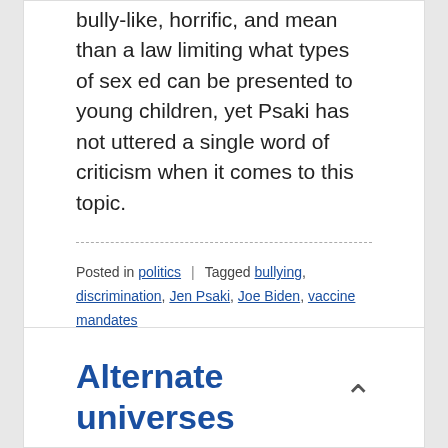bully-like, horrific, and mean than a law limiting what types of sex ed can be presented to young children, yet Psaki has not uttered a single word of criticism when it comes to this topic.
Posted in politics | Tagged bullying, discrimination, Jen Psaki, Joe Biden, vaccine mandates
Alternate universes